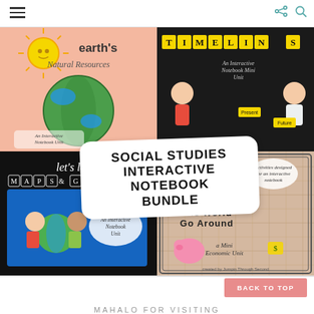Navigation bar with menu icon and share/search icons
[Figure (illustration): Social Studies Interactive Notebook Bundle — collage of four educational product covers: Earth's Natural Resources (globe with sun, pink background), Timelines Interactive Notebook Mini Unit (dark background with cartoon kids), Let's Learn Maps & Globes (two children holding globe), Money Makes the World Go Around A Mini Economic Unit (pink piggy bank on plaid background). A white rounded-rectangle overlay reads SOCIAL STUDIES INTERACTIVE NOTEBOOK BUNDLE in bold black uppercase text.]
BACK TO TOP
MAHALO FOR VISITING